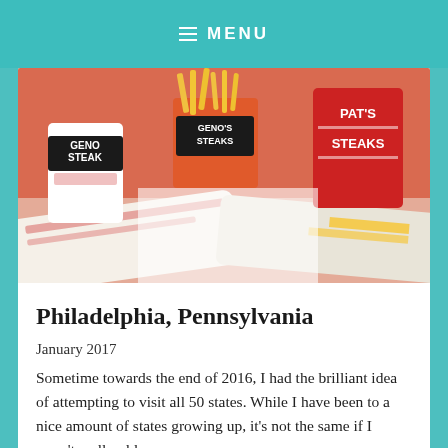≡ MENU
[Figure (photo): Food photo showing Geno's Steaks cup, Geno's Steaks orange cup with fries, Pat's Steaks cup, and wrapped cheesesteak sandwiches on an orange/red background]
Philadelphia, Pennsylvania
January 2017
Sometime towards the end of 2016, I had the brilliant idea of attempting to visit all 50 states. While I have been to a nice amount of states growing up, it's not the same if I wasn't really old